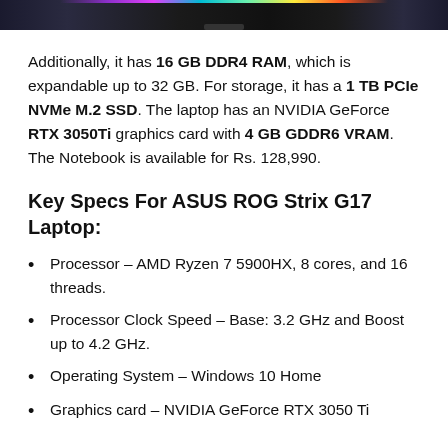[Figure (photo): Top edge of ASUS ROG Strix G17 laptop with RGB lighting strip]
Additionally, it has 16 GB DDR4 RAM, which is expandable up to 32 GB. For storage, it has a 1 TB PCIe NVMe M.2 SSD. The laptop has an NVIDIA GeForce RTX 3050Ti graphics card with 4 GB GDDR6 VRAM. The Notebook is available for Rs. 128,990.
Key Specs For ASUS ROG Strix G17 Laptop:
Processor – AMD Ryzen 7 5900HX, 8 cores, and 16 threads.
Processor Clock Speed – Base: 3.2 GHz and Boost up to 4.2 GHz.
Operating System – Windows 10 Home
Graphics card – NVIDIA GeForce RTX 3050 Ti